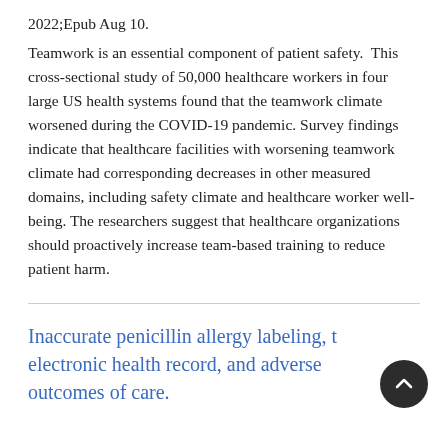2022;Epub Aug 10.
Teamwork is an essential component of patient safety.  This cross-sectional study of 50,000 healthcare workers in four large US health systems found that the teamwork climate worsened during the COVID-19 pandemic. Survey findings indicate that healthcare facilities with worsening teamwork climate had corresponding decreases in other measured domains, including safety climate and healthcare worker well-being. The researchers suggest that healthcare organizations should proactively increase team-based training to reduce patient harm.
Inaccurate penicillin allergy labeling, the electronic health record, and adverse outcomes of care.